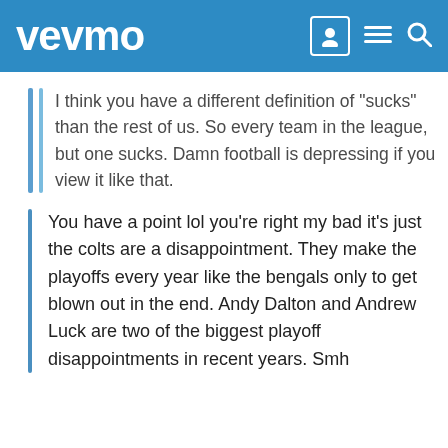vevmo
I think you have a different definition of "sucks" than the rest of us. So every team in the league, but one sucks. Damn football is depressing if you view it like that.
You have a point lol you're right my bad it's just the colts are a disappointment. They make the playoffs every year like the bengals only to get blown out in the end. Andy Dalton and Andrew Luck are two of the biggest playoff disappointments in recent years. Smh